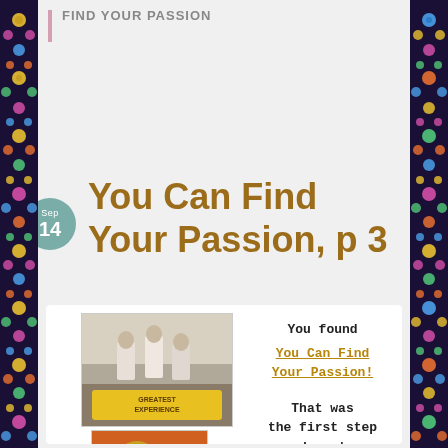FIND YOUR PASSION
You Can Find Your Passion, p 3
[Figure (photo): Book covers: a black-and-white photo cover showing three children in white dresses with a yellow label, and a colorful illustrated cover below it]
You found You Can Find Your Passion! That was the first step and you've already taken it!